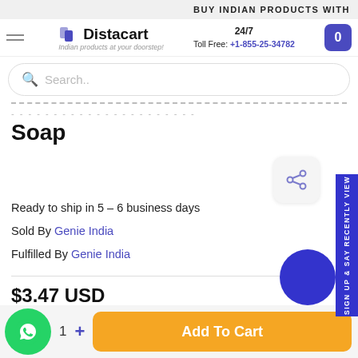BUY INDIAN PRODUCTS WITH
[Figure (logo): Distacart logo with tagline 'Indian products at your doorstep!']
24/7 Toll Free: +1-855-25-34782
Search..
Soap
Ready to ship in 5 – 6 business days
Sold By Genie India
Fulfilled By Genie India
$3.47 USD
1 +
Add To Cart